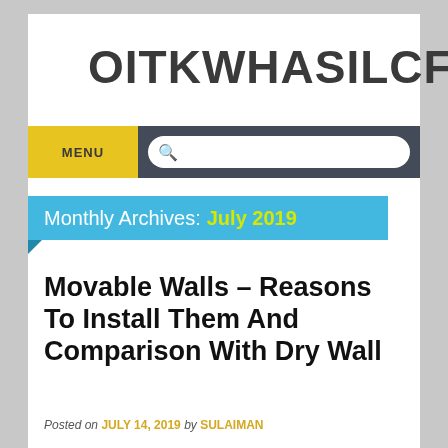OITKWHASILCF
MENU
Monthly Archives: July 2019
Movable Walls – Reasons To Install Them And Comparison With Dry Wall
Posted on JULY 14, 2019 by SULAIMAN